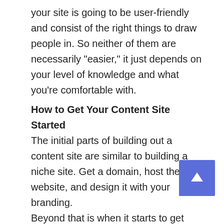your site is going to be user-friendly and consist of the right things to draw people in. So neither of them are necessarily “easier,” it just depends on your level of knowledge and what you’re comfortable with.
How to Get Your Content Site Started
The initial parts of building out a content site are similar to building a niche site. Get a domain, host the website, and design it with your branding.
Beyond that is when it starts to get different. Content websites require a content strategy. You need to do keyword research using SEO tools like Ahrefs, KWFinder or SEMrush in order to know what you can and can’t rank for at this particular stage of your site.
Basically, you want to target two types of keywords:
Long-Tail Keywords that Have Low Competition: These keywords may have lower